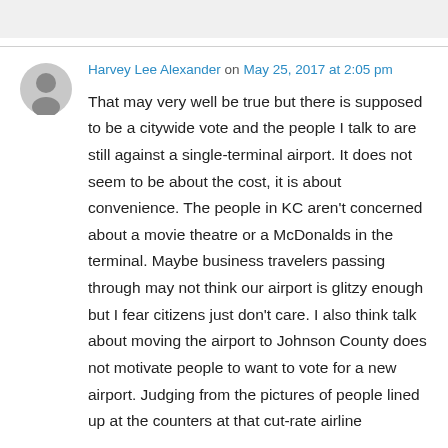Harvey Lee Alexander on May 25, 2017 at 2:05 pm
That may very well be true but there is supposed to be a citywide vote and the people I talk to are still against a single-terminal airport. It does not seem to be about the cost, it is about convenience. The people in KC aren't concerned about a movie theatre or a McDonalds in the terminal. Maybe business travelers passing through may not think our airport is glitzy enough but I fear citizens just don't care. I also think talk about moving the airport to Johnson County does not motivate people to want to vote for a new airport. Judging from the pictures of people lined up at the counters at that cut-rate airline